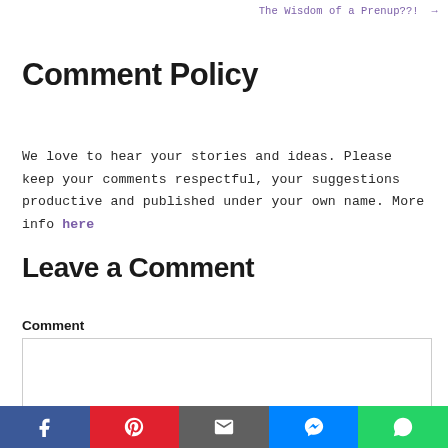The Wisdom of a Prenup??! →
Comment Policy
We love to hear your stories and ideas. Please keep your comments respectful, your suggestions productive and published under your own name. More info here
Leave a Comment
Comment
[Figure (other): Empty comment text area input box]
[Figure (other): Social sharing bar with Facebook, Pinterest, Email, Messenger, and WhatsApp buttons]